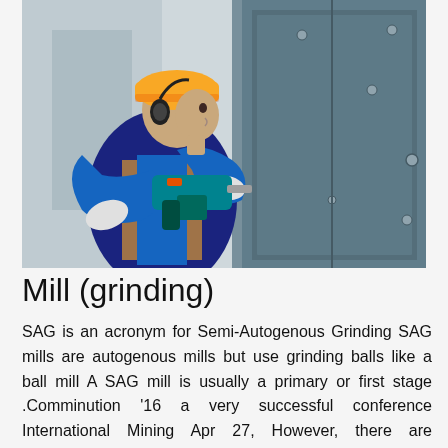[Figure (photo): A worker wearing a yellow hard hat, blue and yellow uniform, ear protection, and white gloves uses a power drill on a large grey metal panel or machine surface with bolts and screws.]
Mill (grinding)
SAG is an acronym for Semi-Autogenous Grinding SAG mills are autogenous mills but use grinding balls like a ball mill A SAG mill is usually a primary or first stage .Comminution '16 a very successful conference International Mining Apr 27, However, there are successful, mainly ball mill based, dry grinding of HPGR versus SAG.